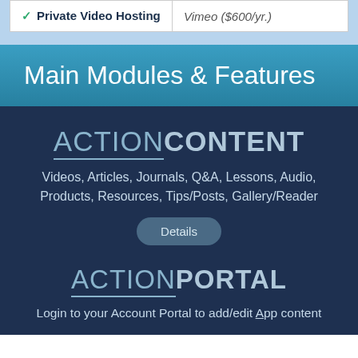| Feature | Details |
| --- | --- |
| ✓ Private Video Hosting | Vimeo ($600/yr.) |
Main Modules & Features
ACTIONCONTENT
Videos, Articles, Journals, Q&A, Lessons, Audio, Products, Resources, Tips/Posts, Gallery/Reader
Details
ACTIONPORTAL
Login to your Account Portal to add/edit App content